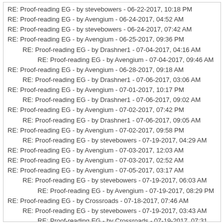RE: Proof-reading EG - by stevebowers - 06-22-2017, 10:18 PM
RE: Proof-reading EG - by Avengium - 06-24-2017, 04:52 AM
RE: Proof-reading EG - by stevebowers - 06-24-2017, 07:42 AM
RE: Proof-reading EG - by Avengium - 06-25-2017, 09:36 PM
RE: Proof-reading EG - by Drashner1 - 07-04-2017, 04:16 AM
RE: Proof-reading EG - by Avengium - 07-04-2017, 09:46 AM
RE: Proof-reading EG - by Avengium - 06-28-2017, 09:18 AM
RE: Proof-reading EG - by Drashner1 - 07-06-2017, 03:06 AM
RE: Proof-reading EG - by Avengium - 07-01-2017, 10:17 PM
RE: Proof-reading EG - by Drashner1 - 07-06-2017, 09:02 AM
RE: Proof-reading EG - by Avengium - 07-02-2017, 07:42 PM
RE: Proof-reading EG - by Drashner1 - 07-06-2017, 09:05 AM
RE: Proof-reading EG - by Avengium - 07-02-2017, 09:58 PM
RE: Proof-reading EG - by stevebowers - 07-19-2017, 04:29 AM
RE: Proof-reading EG - by Avengium - 07-03-2017, 12:03 AM
RE: Proof-reading EG - by Avengium - 07-03-2017, 02:52 AM
RE: Proof-reading EG - by Avengium - 07-05-2017, 03:17 AM
RE: Proof-reading EG - by stevebowers - 07-19-2017, 06:03 AM
RE: Proof-reading EG - by Avengium - 07-19-2017, 08:29 PM
RE: Proof-reading EG - by Crossroads - 07-18-2017, 07:46 AM
RE: Proof-reading EG - by stevebowers - 07-19-2017, 03:43 AM
RE: Proof-reading EG - by Crossroads - 07-19-2017, 07:31 AM
RE: Proof-reading EG - by Avengium - 07-18-2017, 07:55 AM
RE: Proof-reading EG - by selden - 07-19-2017, 06:08 AM